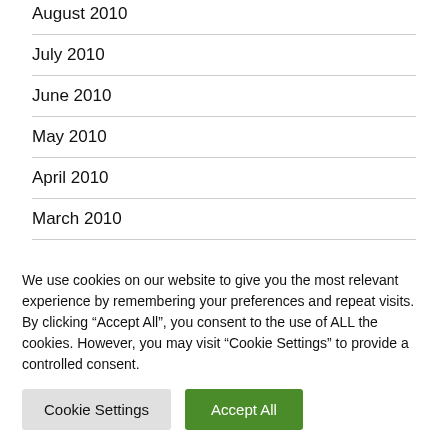August 2010
July 2010
June 2010
May 2010
April 2010
March 2010
February 2010
We use cookies on our website to give you the most relevant experience by remembering your preferences and repeat visits. By clicking “Accept All”, you consent to the use of ALL the cookies. However, you may visit “Cookie Settings” to provide a controlled consent.